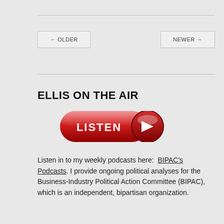← OLDER
NEWER →
ELLIS ON THE AIR
[Figure (illustration): Red glossy play button labeled LISTEN with a right-pointing triangle icon on the right side]
Listen in to my weekly podcasts here:  BIPAC's Podcasts. I provide ongoing political analyses for the Business-Industry Political Action Committee (BIPAC), which is an independent, bipartisan organization.